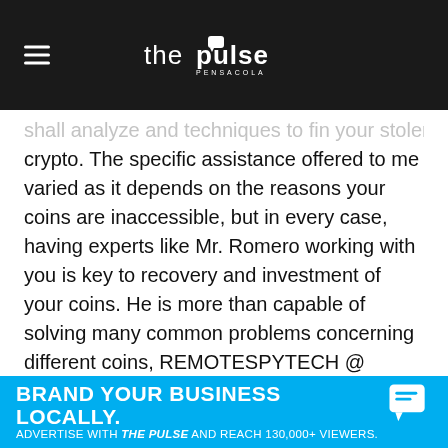the pulse pensacola
shall analyze and techniques to find your stolen crypto. The specific assistance offered to me varied as it depends on the reasons your coins are inaccessible, but in every case, having experts like Mr. Romero working with you is key to recovery and investment of your coins. He is more than capable of solving many common problems concerning different coins, REMOTESPYTECH @ gmail. com today, best in town, they are experts at tracking stolen crypto funds. They make it possible to recover passwords in many situations where accessing your wallets or coins seems impossible.
REMOTESPYTECH (@) GMAIL.CoM
BRAND YOUR BUSINESS LOCALLY. ADVERTISE WITH THE PULSE AND REACH 130,000+ VIEWERS.